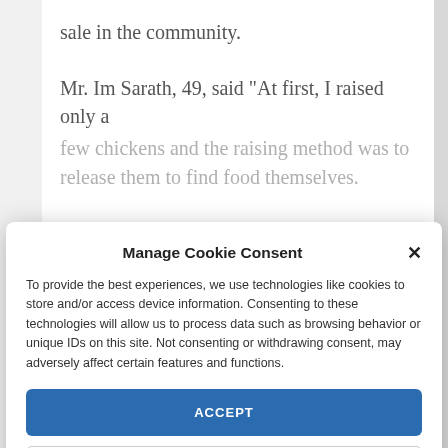sale in the community.
Mr. Im Sarath, 49, said “At first, I raised only a few chickens and the raising method was to release them to find food themselves.
the community and I was taught about chicken raising techniques. I implemented what I learned and my chicken number kept increasing. Nowadays, I have around 150 chickens and earn on average 200,000 to 300,000 riel per sale (once per month or sometimes twice)”.
Manage Cookie Consent
To provide the best experiences, we use technologies like cookies to store and/or access device information. Consenting to these technologies will allow us to process data such as browsing behavior or unique IDs on this site. Not consenting or withdrawing consent, may adversely affect certain features and functions.
ACCEPT
DENY
VIEW PREFERENCES
Cookie Policy   Cookie Policy